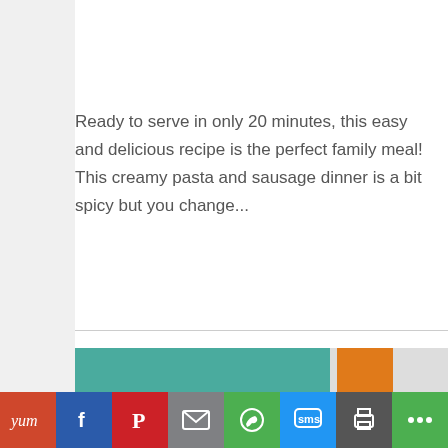lovecookingdaily | March, 1st 2016 | 2 Comments
Ready to serve in only 20 minutes, this easy and delicious recipe is the perfect family meal! This creamy pasta and sausage dinner is a bit spicy but you change...
[Figure (other): Horizontal divider line separating content sections]
[Figure (photo): Partial thumbnail images at bottom of content area — teal/green colored image and orange food photo]
[Figure (infographic): Social sharing bar with buttons: Yum (orange-red), Facebook (blue), Pinterest (red), Email (grey), WhatsApp (green), SMS (blue), Print (dark grey), More (green)]